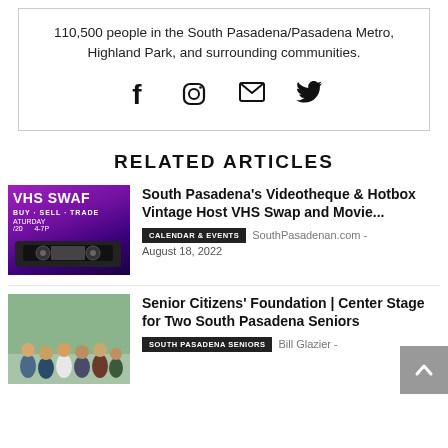110,500 people in the South Pasadena/Pasadena Metro, Highland Park, and surrounding communities.
[Figure (illustration): Social media icons: Facebook, Instagram, Email, Twitter]
RELATED ARTICLES
[Figure (photo): VHS Swap promotional image showing purple background with VHS cassette tape. Text: VHS SWAP, BUY · SELL · TRADE, SATURDAY /20, 4-7P]
South Pasadena's Videotheque & Hotbox Vintage Host VHS Swap and Movie...
CALENDAR & EVENTS   SouthPasadenan.com - August 18, 2022
[Figure (photo): Group of people posing for a photo at a Senior Citizens' Foundation event in front of a green leafy background]
Senior Citizens' Foundation | Center Stage for Two South Pasadena Seniors
SOUTH PASADENA SENIORS   Bill Glazier -